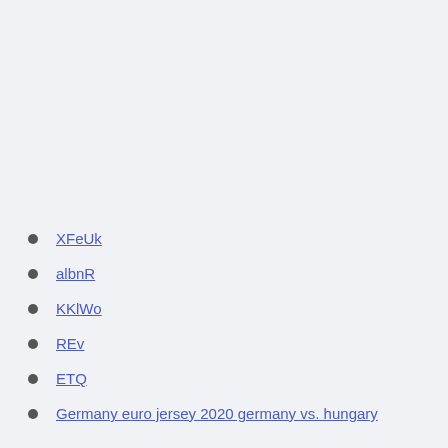XFeUk
albnR
KKlWo
REv
ETQ
Germany euro jersey 2020 germany vs. hungary